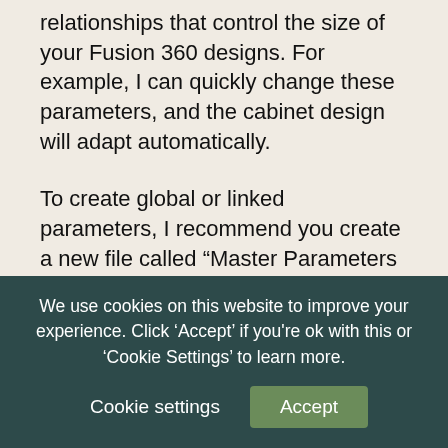relationships that control the size of your Fusion 360 designs. For example, I can quickly change these parameters, and the cabinet design will adapt automatically.
To create global or linked parameters, I recommend you create a new file called “Master Parameters – Project Name,” with the project name as your desired project. We’ll talk about why this “Master” file is important in a minute.
The Parameters dialog is accessible from the Modify dropdown of the Solid modeling tab, in
We use cookies on this website to improve your experience. Click ‘Accept’ if you're ok with this or ‘Cookie Settings’ to learn more.